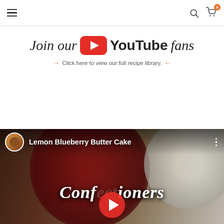Navigation bar with hamburger menu, search icon, and cart icon with badge 0
[Figure (infographic): Join our YouTube fans banner with YouTube logo and text 'Click here to view our full recipe library.' with orange arrows]
[Figure (screenshot): YouTube video thumbnail showing 'Lemon Blueberry Butter Cake' by a cooking channel, with 'Confectioners' text overlay and a play button]